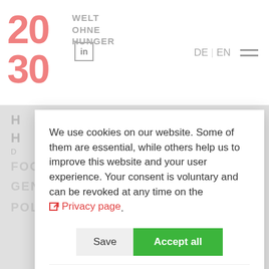[Figure (logo): Welthungerhilfe 2030 logo with LinkedIn icon overlay]
DE | EN ☰
We use cookies on our website. Some of them are essential, while others help us to improve this website and your user experience. Your consent is voluntary and can be revoked at any time on the Privacy page.
Save | Accept all
Standard | Analytics (toggle) | Third party content (toggle)
Cookies that | We use Matomo